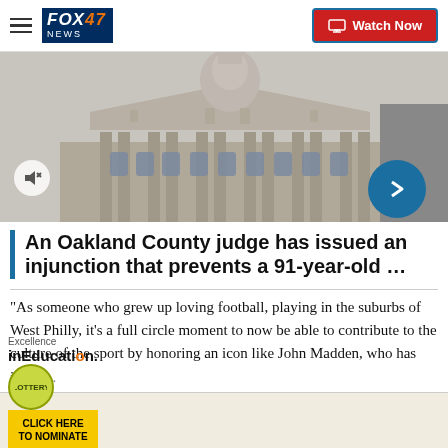FOX 47 NEWS | Watch Now
[Figure (photo): Government building with dome/classical architecture, grayscale/muted photo used as video thumbnail]
An Oakland County judge has issued an injunction that prevents a 91-year-old …
"As someone who grew up loving football, playing in the suburbs of West Philly, it's a full circle moment to now be able to contribute to the culture of the sport by honoring an icon like John Madden, who has influe... passion for football and unmistakable energy through
[Figure (logo): Banner ad: Excellence in Education with lottery logo, CLICK HERE TO NOMINATE button, FOX 47 NEWS logo]